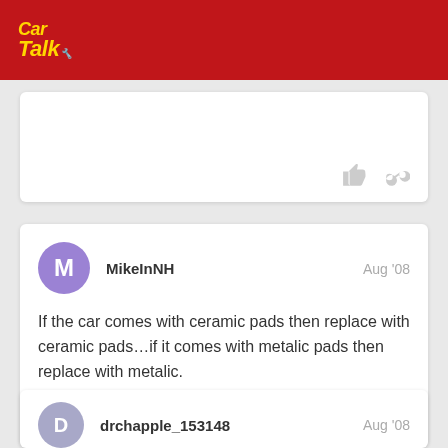Car Talk
MikeInNH  Aug '08
If the car comes with ceramic pads then replace with ceramic pads...if it comes with metalic pads then replace with metalic.
drchapple_153148  Aug '08